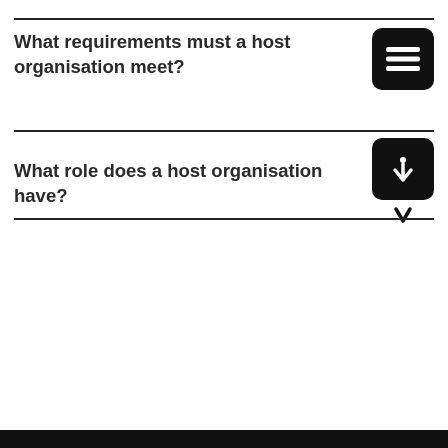What requirements must a host organisation meet?
[Figure (illustration): Black rounded square icon with three horizontal lines representing a document/list]
What role does a host organisation have?
[Figure (illustration): Black rounded square icon with a downward arrow, and a smaller standalone downward arrow below]